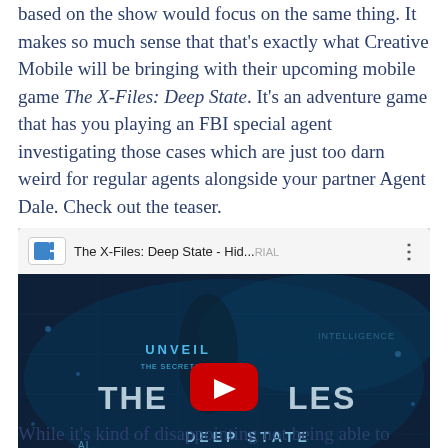based on the show would focus on the same thing. It makes so much sense that that's exactly what Creative Mobile will be bringing with their upcoming mobile game The X-Files: Deep State. It's an adventure game that has you playing an FBI special agent investigating those cases which are just too darn weird for regular agents alongside your partner Agent Dale. Check out the teaser.
[Figure (screenshot): YouTube video embed showing 'The X-Files: Deep State - Hid...' with a dark cinematic thumbnail showing 'UNVEIL THE SECRETS OF THE X-FILES DEEP STATE' text and a red YouTube play button overlay]
While it's kind of disappointing not being able to